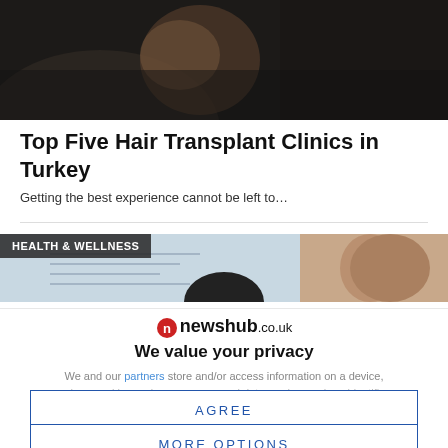[Figure (photo): Dark background photo showing a person in dark clothing, partial face visible. Article header image for hair transplant clinics article.]
Top Five Hair Transplant Clinics in Turkey
Getting the best experience cannot be left to…
[Figure (photo): Health & Wellness section image strip showing people in a medical/wellness setting with documents and a person's ear visible.]
newshub.co.uk
We value your privacy
We and our partners store and/or access information on a device, such as cookies and process personal data, such as unique identifiers
AGREE
MORE OPTIONS